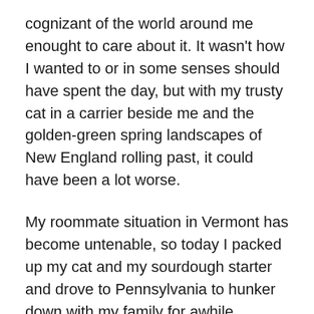cognizant of the world around me enought to care about it. It wasn't how I wanted to or in some senses should have spent the day, but with my trusty cat in a carrier beside me and the golden-green spring landscapes of New England rolling past, it could have been a lot worse.
My roommate situation in Vermont has become untenable, so today I packed up my cat and my sourdough starter and drove to Pennsylvania to hunker down with my family for awhile instead. I have been considering doing this for some time now, but for several reasons that I will probably get into in a later blog post, the cons seemed to outweigh the pros.
Now, I'm back here in suburbia, at least for the time being. As I scrolled through my camera roll looking for photos to include in my somehow obligatory-feeling Earth Day Instagram post, I reminisced about all the cool places I've